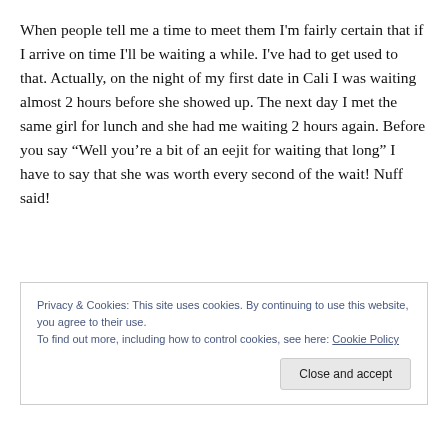When people tell me a time to meet them I'm fairly certain that if I arrive on time I'll be waiting a while. I've had to get used to that. Actually, on the night of my first date in Cali I was waiting almost 2 hours before she showed up. The next day I met the same girl for lunch and she had me waiting 2 hours again. Before you say “Well you’re a bit of an eejit for waiting that long” I have to say that she was worth every second of the wait! Nuff said!
Privacy & Cookies: This site uses cookies. By continuing to use this website, you agree to their use.
To find out more, including how to control cookies, see here: Cookie Policy